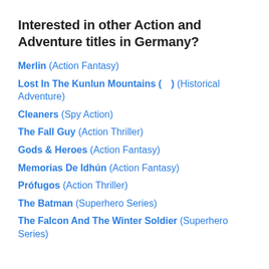Interested in other Action and Adventure titles in Germany?
Merlin (Action Fantasy)
Lost In The Kunlun Mountains (  ) (Historical Adventure)
Cleaners (Spy Action)
The Fall Guy (Action Thriller)
Gods & Heroes (Action Fantasy)
Memorias De Idhún (Action Fantasy)
Prófugos (Action Thriller)
The Batman (Superhero Series)
The Falcon And The Winter Soldier (Superhero Series)